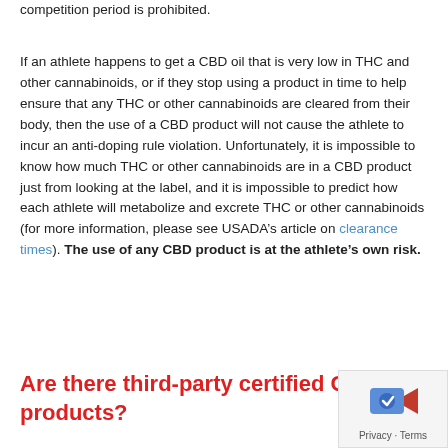competition period is prohibited.
If an athlete happens to get a CBD oil that is very low in THC and other cannabinoids, or if they stop using a product in time to help ensure that any THC or other cannabinoids are cleared from their body, then the use of a CBD product will not cause the athlete to incur an anti-doping rule violation. Unfortunately, it is impossible to know how much THC or other cannabinoids are in a CBD product just from looking at the label, and it is impossible to predict how each athlete will metabolize and excrete THC or other cannabinoids (for more information, please see USADA’s article on clearance times). The use of any CBD product is at the athlete’s own risk.
Are there third-party certified CBD products?